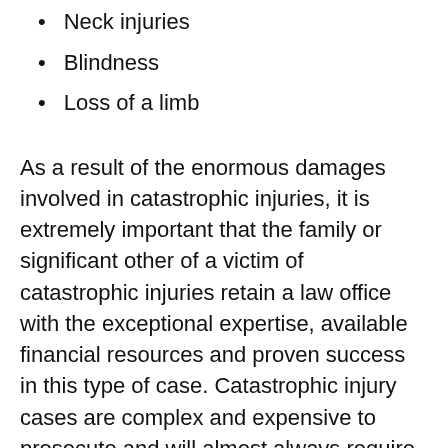Neck injuries
Blindness
Loss of a limb
As a result of the enormous damages involved in catastrophic injuries, it is extremely important that the family or significant other of a victim of catastrophic injuries retain a law office with the exceptional expertise, available financial resources and proven success in this type of case. Catastrophic injury cases are complex and expensive to prosecute and will almost always require various experts to prove all of the monetary damages that need to be recovered in order to obtain full and fair